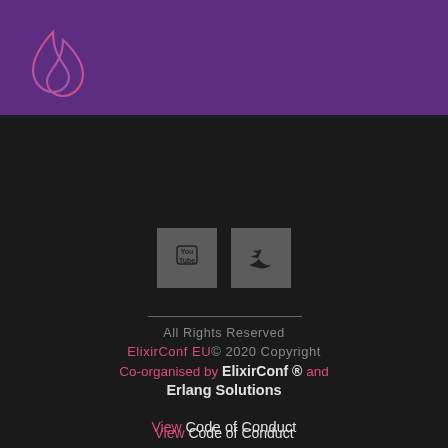[Figure (logo): ElixirConf EU logo — two overlapping drop shapes outlined in pink/purple gradient on a purple header bar]
[Figure (illustration): YouTube icon button (gray square with play button) and Twitter bird icon (gray square with white bird)]
All Rights Reserved
ElixirConf EU© 2020 Copyright
Co-organised by ElixirConf ® and Erlang Solutions
View Code of Conduct
View Privacy Policy